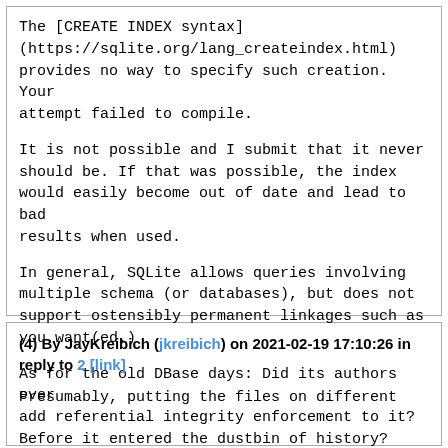The [CREATE INDEX syntax](https://sqlite.org/lang_createindex.html) provides no way to specify such creation. Your attempt failed to compile.

It is not possible and I submit that it never should be. If that was possible, the index would easily become out of date and lead to bad results when used.

In general, SQLite allows queries involving multiple schema (or databases), but does not support ostensibly permanent linkages such as you want(ed.)

As for the old DBase days: Did its authors ever add referential integrity enforcement to it? Before it entered the dustbin of history?
Reply
(4) By JayKreibich (jkreibich) on 2021-02-19 17:10:26 in reply to 2 [link]
Presumably, putting the files on different